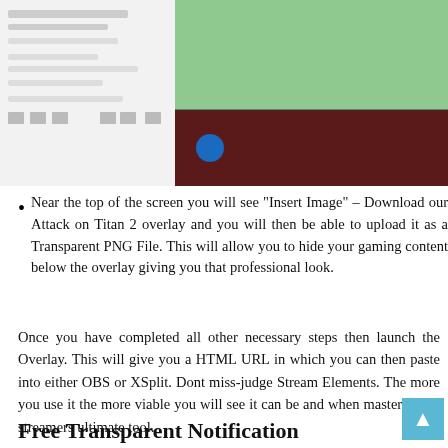[Figure (screenshot): Screenshot of a streaming overlay editor showing a layout with green, dark red, and black panels, and text showing '2XGANGS', 'SMICKLESOO', 'CHILLINDUDE - 20' on a dark overlay panel on the right side.]
Near the top of the screen you will see “Insert Image” – Download our Attack on Titan 2 overlay and you will then be able to upload it as a Transparent PNG File. This will allow you to hide your gaming content below the overlay giving you that professional look.
Once you have completed all other necessary steps then launch the Overlay. This will give you a HTML URL in which you can then paste into either OBS or XSplit. Dont miss-judge Stream Elements. The more you use it the more viable you will see it can be and when mastered is a streamers ultimate tool.
Free Transparent Notification